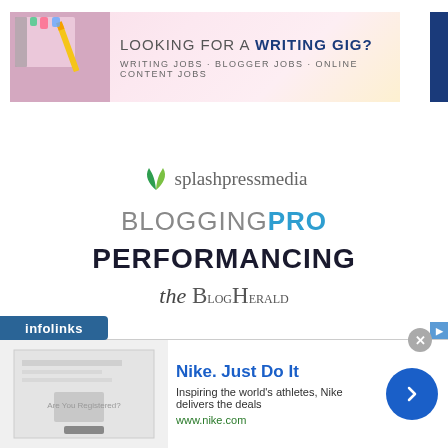[Figure (illustration): Banner advertisement: 'LOOKING FOR A WRITING GIG? WRITING JOBS · BLOGGER JOBS · ONLINE CONTENT JOBS' with pencils/notebook imagery on the left and a blue strip on the right]
[Figure (logo): splashpress media logo with blue/green leaf icon]
[Figure (logo): BLOGGING PRO logo in gray and blue]
[Figure (logo): PERFORMANCING logo in dark bold text]
[Figure (logo): the BlogHerald logo in mixed serif font]
[Figure (infographic): infolinks bar label at bottom left]
[Figure (screenshot): Nike advertisement: 'Nike. Just Do It' with description 'Inspiring the world's athletes, Nike delivers the deals' and url www.nike.com, with thumbnail image and blue arrow button]